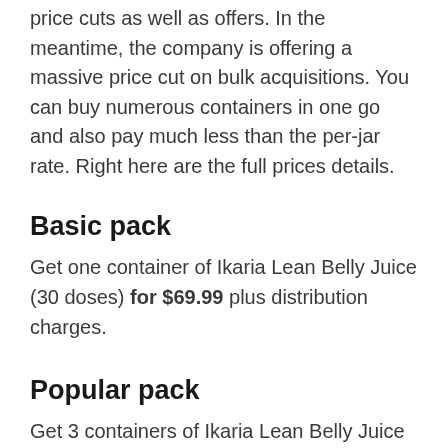price cuts as well as offers. In the meantime, the company is offering a massive price cut on bulk acquisitions. You can buy numerous containers in one go and also pay much less than the per-jar rate. Right here are the full prices details.
Basic pack
Get one container of Ikaria Lean Belly Juice (30 doses) for $69.99 plus distribution charges.
Popular pack
Get 3 containers of Ikaria Lean Belly Juice (90 doses) for $59.00 with cost-free delivery.
Ideal value pack